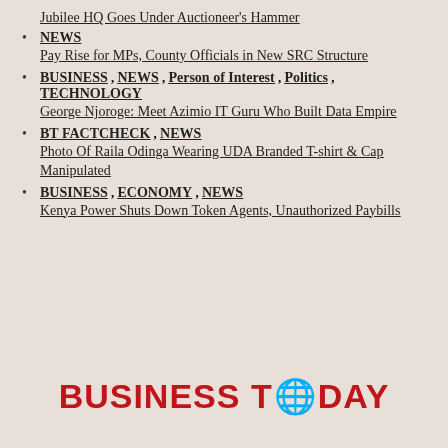Jubilee HQ Goes Under Auctioneer's Hammer
NEWS
Pay Rise for MPs, County Officials in New SRC Structure
BUSINESS , NEWS , Person of Interest , Politics , TECHNOLOGY
George Njoroge: Meet Azimio IT Guru Who Built Data Empire
BT FACTCHECK , NEWS
Photo Of Raila Odinga Wearing UDA Branded T-shirt & Cap Manipulated
BUSINESS , ECONOMY , NEWS
Kenya Power Shuts Down Token Agents, Unauthorized Paybills
[Figure (logo): Business Today logo with globe icon replacing the letter O in TODAY]